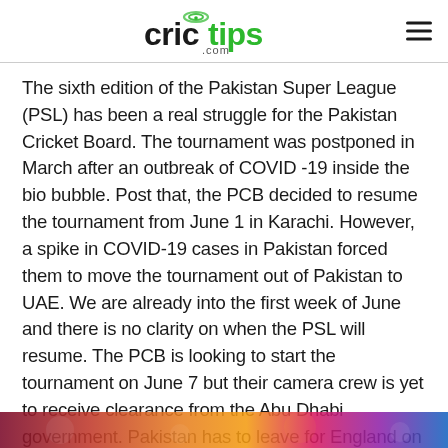crictips.com
The sixth edition of the Pakistan Super League (PSL) has been a real struggle for the Pakistan Cricket Board. The tournament was postponed in March after an outbreak of COVID -19 inside the bio bubble. Post that, the PCB decided to resume the tournament from June 1 in Karachi. However, a spike in COVID-19 cases in Pakistan forced them to move the tournament out of Pakistan to UAE. We are already into the first week of June and there is no clarity on when the PSL will resume. The PCB is looking to start the tournament on June 7 but their camera crew is yet to receive clearance from the Abu Dhabi government. Pakistan has to leave for England on June 25 thus PCB needs to
[Figure (photo): Colorful blurred background image at the bottom of the page]